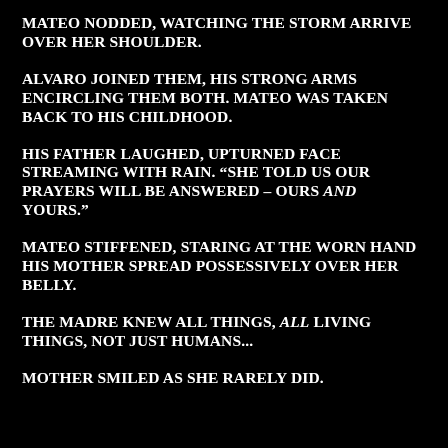Mateo nodded, watching the storm arrive over her shoulder.
Alvaro joined them, his strong arms encircling them both. Mateo was taken back to his childhood.
His father laughed, upturned face streaming with rain. “She told us our prayers will be answered – ours and yours.”
Mateo stiffened, staring at the worn hand his mother spread possessively over her belly.
The Madre knew all things, all living things, not just humans...
Mother smiled as she rarely did.